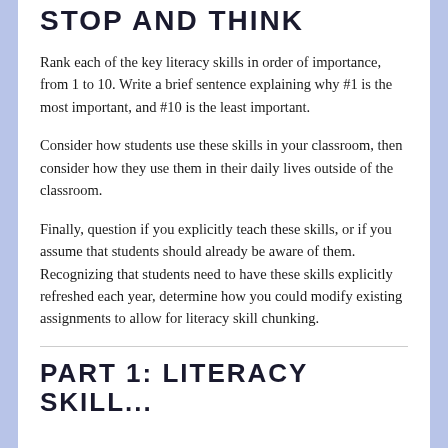STOP AND THINK
Rank each of the key literacy skills in order of importance, from 1 to 10.  Write a brief sentence explaining why #1 is the most important, and #10 is the least important.
Consider how students use these skills in your classroom, then consider how they use them in their daily lives outside of the classroom.
Finally, question if you explicitly teach these skills, or if you assume that students should already be aware of them.  Recognizing that students need to have these skills explicitly refreshed each year, determine how you could modify existing assignments to allow for literacy skill chunking.
PART 1: LITERACY SKILL...